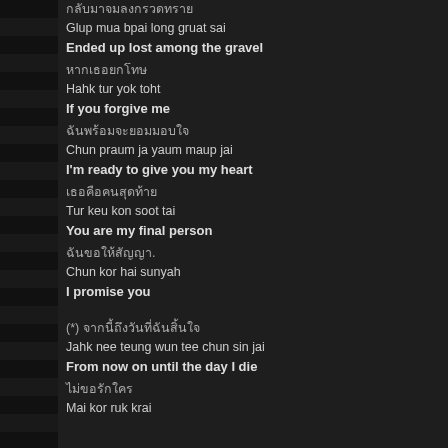กลับมาจมลงกรวดทราย
Glup mua bpai long gruat sai
Ended up lost among the gravel
หากเธอยกโทษ
Hahk tur yok toht
If you forgive me
ฉันพร้อมจะยอมมอบใจ
Chun praum ja yaum maup jai
I'm ready to give you my heart
เธอคือคนสุดท้าย
Tur keu kon soot tai
You are my final person
ฉันขอให้สัญญา.
Chun kor hai sunyah
I promise you
(*) จากนี้ถึงวันที่ฉันสิ้นใจ
Jahk nee teung wun tee chun sin jai
From now on until the day I die
ไม่ขอรักใคร
Mai kor ruk krai